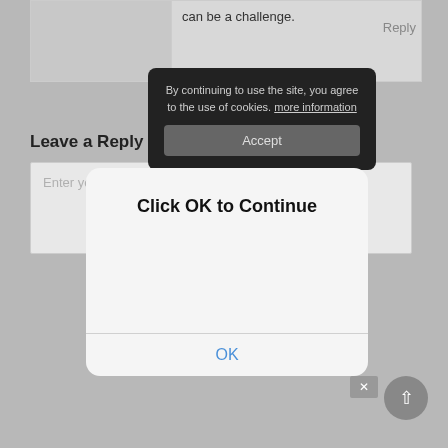can be a challenge.
Reply
[Figure (screenshot): Dark cookie consent popup with text: 'By continuing to use the site, you agree to the use of cookies. more information' and an Accept button]
Leave a Reply to Hellsfate Cancel reply
Enter your comment here...
[Figure (screenshot): iOS-style modal dialog with text 'Click OK to Continue' and an OK button in blue]
Click OK to Continue
OK